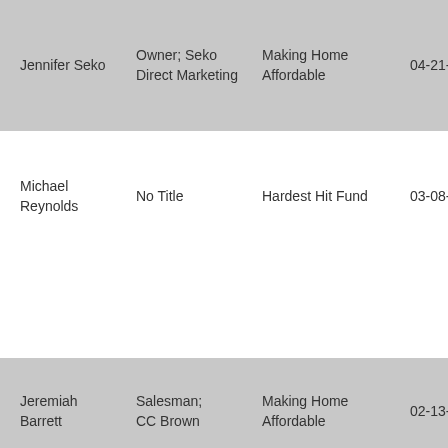| Name | Title | Program | Date |
| --- | --- | --- | --- |
| Jennifer Seko | Owner; Seko Direct Marketing | Making Home Affordable | 04-21-2017 |
| Michael Reynolds | No Title | Hardest Hit Fund | 03-08-2017 |
| Jeremiah Barrett | Salesman; CC Brown | Making Home Affordable | 02-13-2017 |